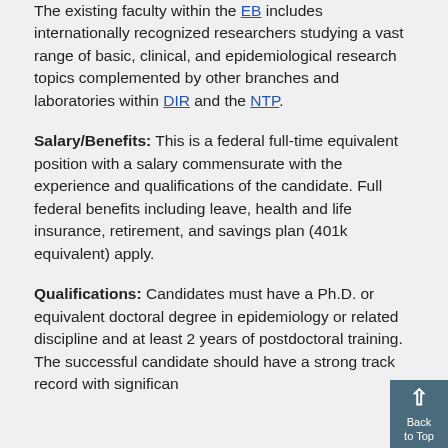The existing faculty within the EB includes internationally recognized researchers studying a vast range of basic, clinical, and epidemiological research topics complemented by other branches and laboratories within DIR and the NTP.
Salary/Benefits: This is a federal full-time equivalent position with a salary commensurate with the experience and qualifications of the candidate. Full federal benefits including leave, health and life insurance, retirement, and savings plan (401k equivalent) apply.
Qualifications: Candidates must have a Ph.D. or equivalent doctoral degree in epidemiology or related discipline and at least 2 years of postdoctoral training. The successful candidate should have a strong track record with significant